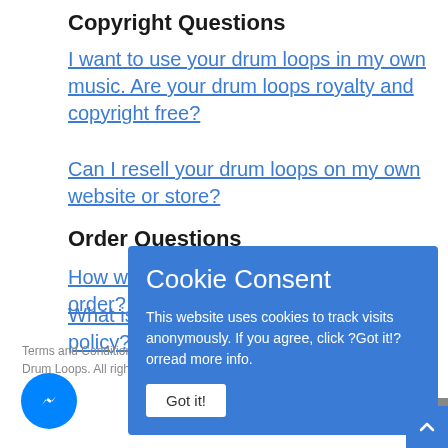Copyright Questions
I want to use your drum loops in my own music. Are your drum loops royalty and copyright free?
Can I resell your drum loops on my own website or store?
Order Questions
How will I receive my order?
What is your return policy?
Terms and Conditions
Drum Loops. All rights re
[Figure (screenshot): Cookie Consent popup overlay with blue background. Title: Cookie Consent. Text: This website uses cookies to track visits anonymously. If you agree, click ?Got it!? orread more info. Button: Got it!]
[Figure (logo): PayPal logo badge]
[Figure (logo): Facebook Messenger icon (blue circle with white lightning bolt)]